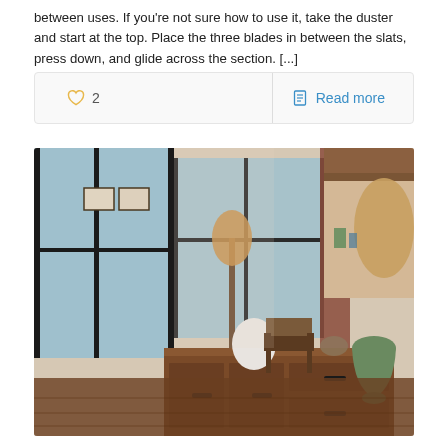between uses. If you're not sure how to use it, take the duster and start at the top. Place the three blades in between the slats, press down, and glide across the section. [...]
[Figure (other): Card/action bar with a heart icon showing '2' likes on the left and a 'Read more' link with document icon on the right, separated by a vertical divider]
[Figure (photo): Interior room photo showing a cozy living space with large windows, wooden dresser/credenza with drawer pulls, a floor lamp with tan shade, wooden chair, and various decorative items. Warm tones with natural light.]